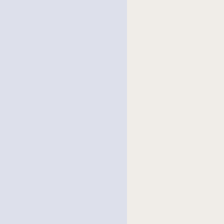I'll send you a text
Jewell (2017-02-2... Some First Class s... em
Mariano (2017-02-... I sing in a choir ou... indicted for alleg
Ronnie (2017-02-2... I want to report a a
Freelove (2017-02... What sort of music
Aidan (2017-02-21... I quite like cooking
Milan (2017-02-21... An estate agents p
Abraham (2017-02... We used to work to... House Speaker Joh
Jessie (2017-02-21... What sort of music
Odell (2017-02-21... I'm sorry, I didn't c